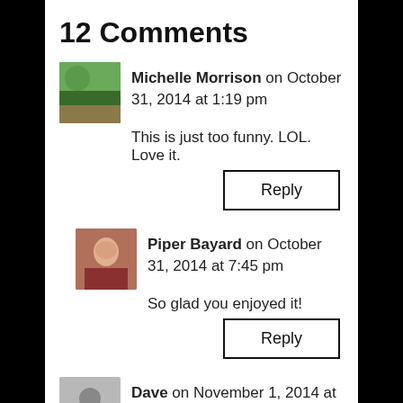12 Comments
Michelle Morrison on October 31, 2014 at 1:19 pm
This is just too funny. LOL. Love it.
Reply
Piper Bayard on October 31, 2014 at 7:45 pm
So glad you enjoyed it!
Reply
Dave on November 1, 2014 at 8:17 pm